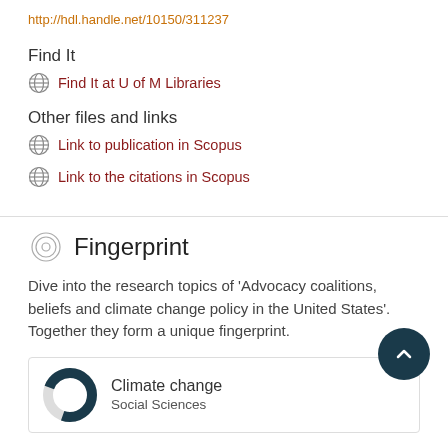http://hdl.handle.net/10150/311237
Find It
Find It at U of M Libraries
Other files and links
Link to publication in Scopus
Link to the citations in Scopus
Fingerprint
Dive into the research topics of 'Advocacy coalitions, beliefs and climate change policy in the United States'. Together they form a unique fingerprint.
Climate change
Social Sciences